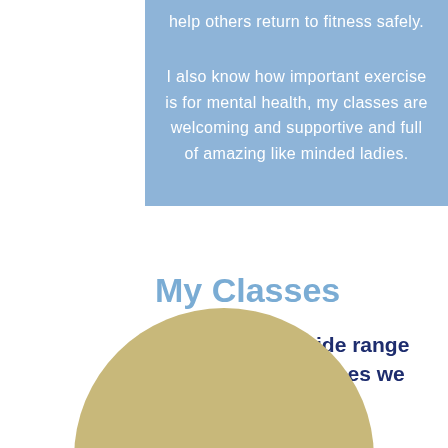help others return to fitness safely.
I also know how important exercise is for mental health, my classes are welcoming and supportive and full of amazing like minded ladies.
My Classes
Check out the wide range of ladies only classes we offer!
[Figure (illustration): Tan/gold colored semicircle at the bottom of the page]